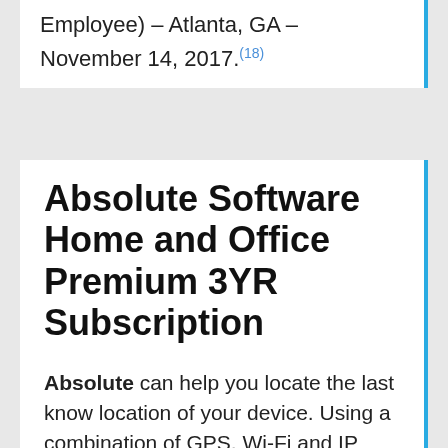Employee) – Atlanta, GA – November 14, 2017.(18)
Absolute Software Home and Office Premium 3YR Subscription
Absolute can help you locate the last know location of your device. Using a combination of GPS, Wi-Fi and IP geolocation we can help you decide what your next move will be. GET IT BACK! OUR $1,000 GUARANTEE TO YOU. With Premium edition, if we are